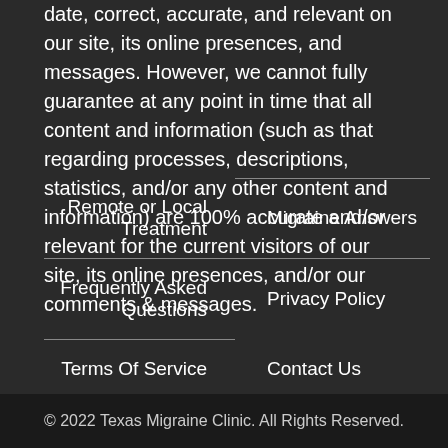date, correct, accurate, and relevant on our site, its online presences, and messages. However, we cannot fully guarantee at any point in time that all content and information (such as that regarding processes, descriptions, statistics, and/or any other content and information) are 100% accurate and/or relevant for the current visitors of our site, its online presences, and/or our comments & messages.
Remote or Local Treatment
Migraine Answers
Frequently Asked Questions
Privacy Policy
Terms Of Service
Contact Us
© 2022 Texas Migraine Clinic. All Rights Reserved.